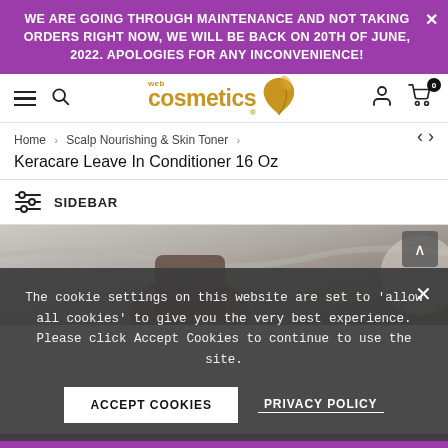WE ARE GOING THROUGH MAINTENANCE AND NOT TAKING ORDERS RIGHT NOW, WE WILL BE BACK ON 20TH OF JUNE, 2022. APOLOGIES FOR ANY INCONVENIENCE!
[Figure (logo): Web Cosmetics logo with golden leaf and text]
Home > Scalp Nourishing & Skin Toner > Keracare Leave In Conditioner 16 Oz
SIDEBAR
[Figure (photo): Product image area showing partial cosmetic product on marble-like background]
The cookie settings on this website are set to 'allow all cookies' to give you the very best experience. Please click Accept Cookies to continue to use the site.
ACCEPT COOKIES
PRIVACY POLICY